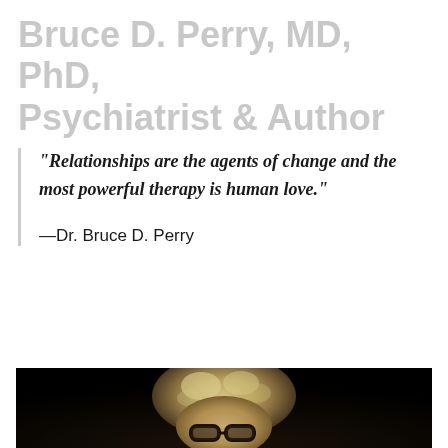Bruce D. Perry, MD, PhD, Psychiatrist & Author
“Relationships are the agents of change and the most powerful therapy is human love.”

—Dr. Bruce D. Perry
[Figure (photo): Black and white photograph of Dr. Bruce D. Perry, a person with light curly/wavy hair wearing dark-framed glasses, photographed against a dark/black background.]